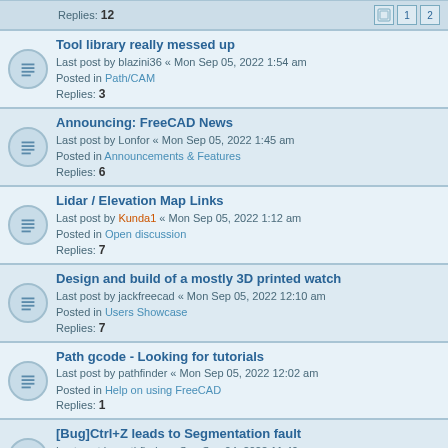Replies: 12 [pagination: 1 2]
Tool library really messed up
Last post by blazini36 « Mon Sep 05, 2022 1:54 am
Posted in Path/CAM
Replies: 3
Announcing: FreeCAD News
Last post by Lonfor « Mon Sep 05, 2022 1:45 am
Posted in Announcements & Features
Replies: 6
Lidar / Elevation Map Links
Last post by Kunda1 « Mon Sep 05, 2022 1:12 am
Posted in Open discussion
Replies: 7
Design and build of a mostly 3D printed watch
Last post by jackfreecad « Mon Sep 05, 2022 12:10 am
Posted in Users Showcase
Replies: 7
Path gcode - Looking for tutorials
Last post by pathfinder « Mon Sep 05, 2022 12:02 am
Posted in Help on using FreeCAD
Replies: 1
[Bug]Ctrl+Z leads to Segmentation fault
Last post by pathfinder « Sun Sep 04, 2022 11:49 pm
Posted in Help on using FreeCAD
Replies: 4
[Idea] Enforce the policy of having complete information from posters.
Last post by GeneFC « Sun Sep 04, 2022 11:43 pm
Posted in Open discussion